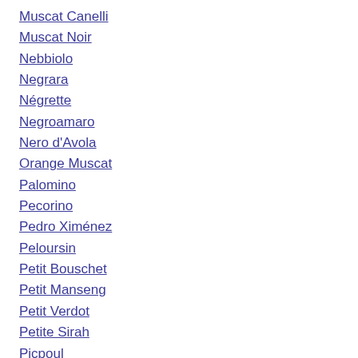Muscat Canelli
Muscat Noir
Nebbiolo
Negrara
Négrette
Negroamaro
Nero d'Avola
Orange Muscat
Palomino
Pecorino
Pedro Ximénez
Peloursin
Petit Bouschet
Petit Manseng
Petit Verdot
Petite Sirah
Picpoul
Picpoul Blanc
Piodirosso